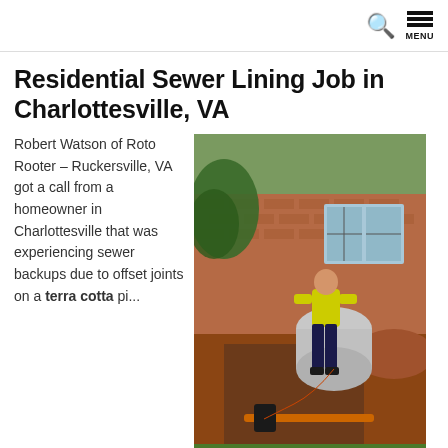MENU
Residential Sewer Lining Job in Charlottesville, VA
Robert Watson of Roto Rooter – Ruckersville, VA got a call from a homeowner in Charlottesville that was experiencing sewer backups due to offset joints on a terra cotta pipe...
[Figure (photo): Worker in yellow shirt and dark pants operating large cylindrical sewer lining equipment in an excavated trench in a residential front yard with brick house in background]